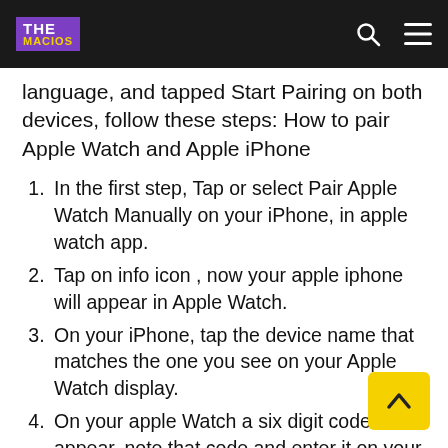THE MACIOS
language, and tapped Start Pairing on both devices, follow these steps: How to pair Apple Watch and Apple iPhone
In the first step, Tap or select Pair Apple Watch Manually on your iPhone, in apple watch app.
Tap on info icon , now your apple iphone will appear in Apple Watch.
On your iPhone, tap the device name that matches the one you see on your Apple Watch display.
On your apple Watch a six digit code will appear, note that code and enter it on your apple iPhone watch app.
Now Put and your Apple iPhone over the